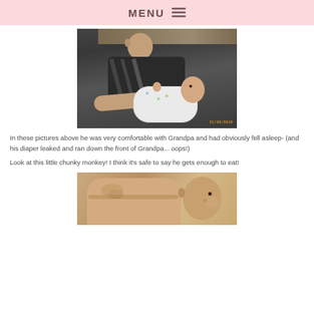MENU
[Figure (photo): A man (grandpa) holding a baby. The baby is swaddled in a white onesie with colorful dots. Grandpa is wearing a dark patterned shirt and sitting in a chair. A table or surface is visible in the background. Date stamp: 21/06/2010.]
In these pictures above he was very comfortable with Grandpa and had obviously fell asleep- (and his diaper leaked and ran down the front of Grandpa... oops!)
Look at this little chunky monkey! I think it's safe to say he gets enough to eat!
[Figure (photo): A chubby baby lying on a surface, photographed from above in warm sepia/tan tones. The baby appears very plump with rolls, looking toward the camera.]